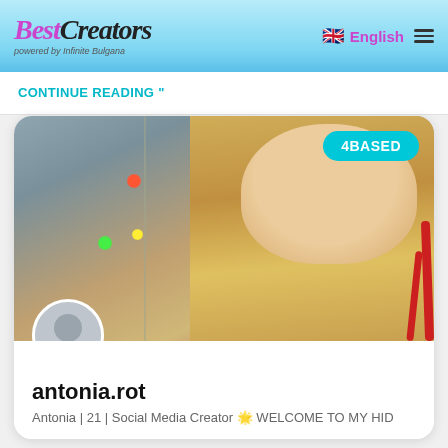[Figure (logo): BestCreators logo with purple/pink italic 'Best' and black italic 'Creators', tagline 'powered by Infinite Bulgana', on gradient blue background]
English
CONTINUE READING "
[Figure (photo): Young blonde woman in red top, fairy lights visible on left side of image, on a gray background. Badge '4BASED' in teal pill shape top right. Gray avatar circle with person silhouette bottom left.]
antonia.rot
Antonia | 21 | Social Media Creator 🌟 WELCOME TO MY HID